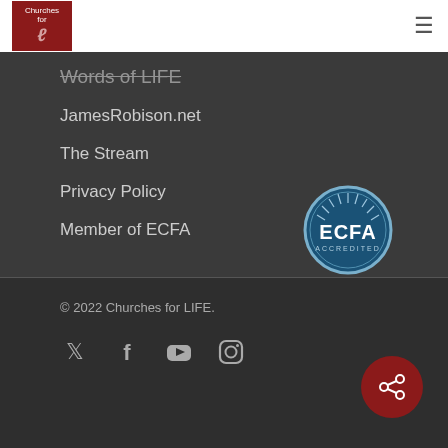[Figure (logo): Churches for Life logo - red square with stylized text]
Words of LIFE
JamesRobison.net
The Stream
Privacy Policy
Member of ECFA
[Figure (logo): ECFA Accredited circular badge/seal in blue and white]
© 2022 Churches for LIFE.
[Figure (illustration): Social media icons: Twitter, Facebook, YouTube, Instagram]
[Figure (illustration): Red circular share button with share icon]